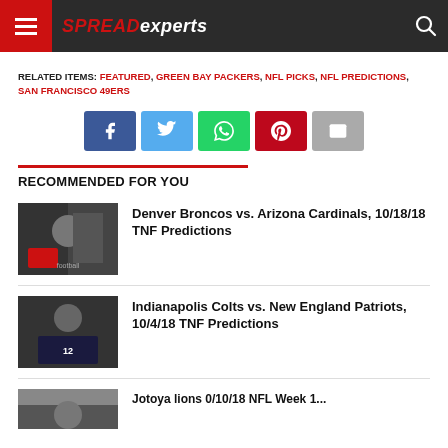SPREAD experts
RELATED ITEMS: FEATURED, GREEN BAY PACKERS, NFL PICKS, NFL PREDICTIONS, SAN FRANCISCO 49ERS
[Figure (other): Social share buttons: Facebook, Twitter, WhatsApp, Pinterest, Email]
RECOMMENDED FOR YOU
[Figure (photo): Football player in red Arizona Cardinals uniform throwing a ball]
Denver Broncos vs. Arizona Cardinals, 10/18/18 TNF Predictions
[Figure (photo): Tom Brady #12 in New England Patriots uniform]
Indianapolis Colts vs. New England Patriots, 10/4/18 TNF Predictions
[Figure (photo): Football player partial image at bottom]
Jotoya lions 0/10/18 NFL Week 1...